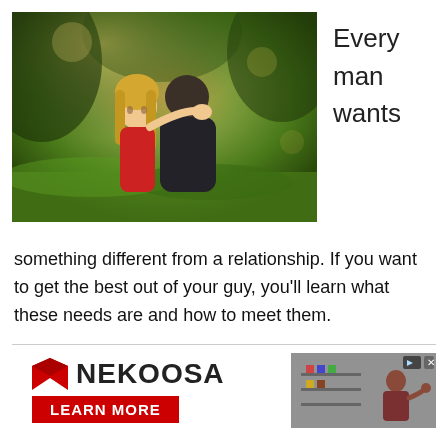[Figure (photo): A couple outdoors in a grassy area. A blonde woman in a red top embraces a dark-haired man from behind, resting her chin near his shoulder and looking at the camera. Warm bokeh background of trees/nature.]
Every man wants
something different from a relationship. If you want to get the best out of your guy, you'll learn what these needs are and how to meet them.
[Figure (infographic): Advertisement for NEKOOSA with red arrow logo, NEKOOSA brand name, LEARN MORE button in red, and a video thumbnail showing a person in a store, with play and close controls.]